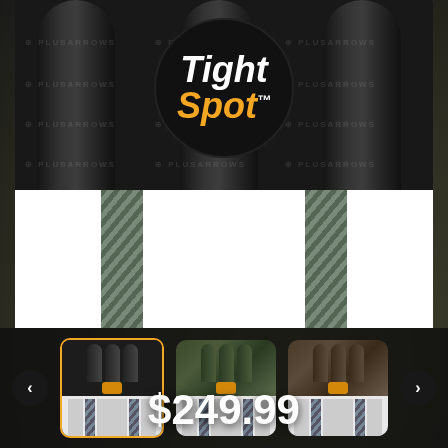[Figure (photo): Product listing page for a Tight Spot archery quiver. Top section shows a close-up product photo of a black quiver with the Tight Spot logo (white text 'Tight' and orange text 'Spot' on a dark circle) against a dark background with PLUSARROWS watermarks. Below the main image are three thumbnail images of the quiver in different color variants (black, camo green, camo brown). Navigation arrows on either side of thumbnails. Price shown as $249.99 at the bottom.]
$249.99